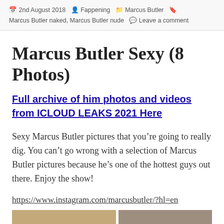2nd August 2018  Fappening  Marcus Butler  Marcus Butler naked, Marcus Butler nude  Leave a comment
Marcus Butler Sexy (8 Photos)
Full archive of him photos and videos from ICLOUD LEAKS 2021 Here
Sexy Marcus Butler pictures that you’re going to really dig. You can’t go wrong with a selection of Marcus Butler pictures because he’s one of the hottest guys out there. Enjoy the show!
https://www.instagram.com/marcusbutler/?hl=en
[Figure (photo): Two cropped photo thumbnails at the bottom of the page]